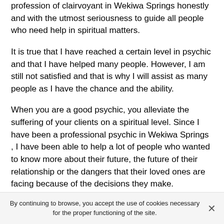profession of clairvoyant in Wekiwa Springs honestly and with the utmost seriousness to guide all people who need help in spiritual matters.
It is true that I have reached a certain level in psychic and that I have helped many people. However, I am still not satisfied and that is why I will assist as many people as I have the chance and the ability.
When you are a good psychic, you alleviate the suffering of your clients on a spiritual level. Since I have been a professional psychic in Wekiwa Springs , I have been able to help a lot of people who wanted to know more about their future, the future of their relationship or the dangers that their loved ones are facing because of the decisions they make.
As a result, I have helped many of my clients to have a job
By continuing to browse, you accept the use of cookies necessary for the proper functioning of the site.